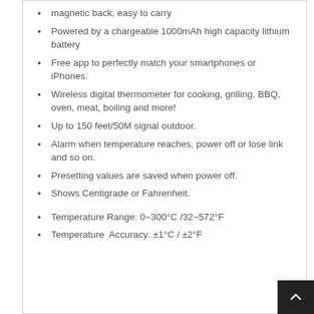magnetic back, easy to carry
Powered by a chargeable 1000mAh high capacity lithium battery
Free app to perfectly match your smartphones or iPhones.
Wireless digital thermometer for cooking, grilling, BBQ, oven, meat, boiling and more!
Up to 150 feet/50M signal outdoor.
Alarm when temperature reaches, power off or lose link and so on.
Presetting values are saved when power off.
Shows Centigrade or Fahrenheit.
Temperature Range: 0~300°C /32~572°F
Temperature  Accuracy: ±1°C / ±2°F